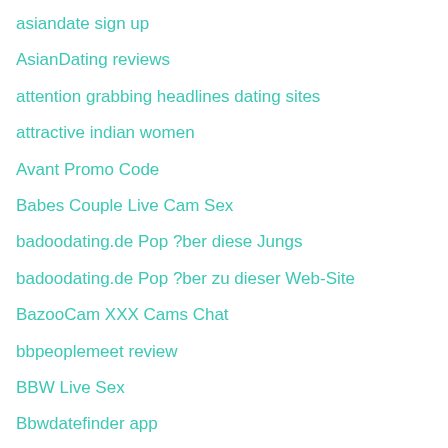asiandate sign up
AsianDating reviews
attention grabbing headlines dating sites
attractive indian women
Avant Promo Code
Babes Couple Live Cam Sex
badoodating.de Pop ?ber diese Jungs
badoodating.de Pop ?ber zu dieser Web-Site
BazooCam XXX Cams Chat
bbpeoplemeet review
BBW Live Sex
Bbwdatefinder app